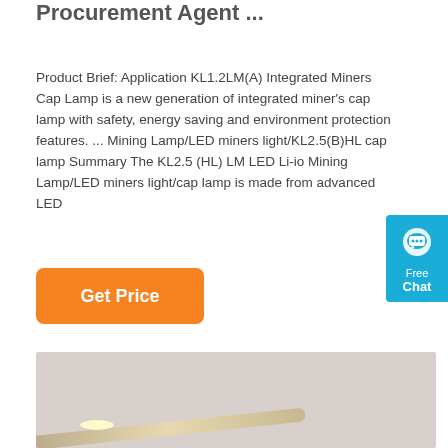Procurement Agent ...
Product Brief: Application KL1.2LM(A) Integrated Miners Cap Lamp is a new generation of integrated miner's cap lamp with safety, energy saving and environment protection features. ... Mining Lamp/LED miners light/KL2.5(B)HL cap lamp Summary The KL2.5 (HL) LM LED Li-io Mining Lamp/LED miners light/cap lamp is made from advanced LED
[Figure (other): Blue chat widget with speech bubble icon, 'Free Chat' label]
[Figure (other): Orange 'Get Price' button]
[Figure (photo): Photo of a miners cap lamp/LED mining lamp against a light grey background, showing a metallic lamp bar at an angle with a warm LED glow]